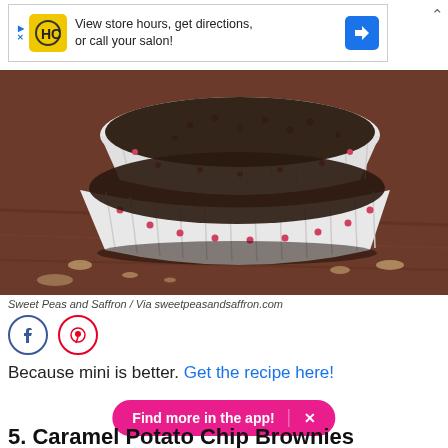[Figure (screenshot): Advertisement banner for HC salon: 'View store hours, get directions, or call your salon!']
[Figure (photo): Close-up photo of two chocolate brownies in white polka-dot cupcake liners stacked on a wooden surface with chocolate crumbs scattered around.]
Sweet Peas and Saffron / Via sweetpeasandsaffron.com
Because mini is better. Get the recipe here!
Find more in the app! ✕
5. Caramel Potato Chip Brownies